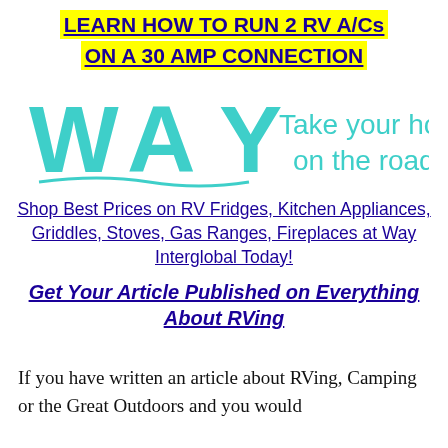LEARN HOW TO RUN 2 RV A/Cs ON A 30 AMP CONNECTION
[Figure (logo): WAY Interglobal logo with teal 'WAY' wordmark and tagline 'Take your home on the road']
Shop Best Prices on RV Fridges, Kitchen Appliances, Griddles, Stoves, Gas Ranges, Fireplaces at Way Interglobal Today!
Get Your Article Published on Everything About RVing
If you have written an article about RVing, Camping or the Great Outdoors and you would